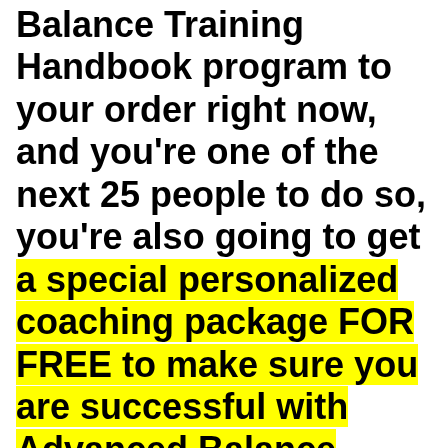if you add the Advanced Balance Training Handbook program to your order right now, and you're one of the next 25 people to do so, you're also going to get a special personalized coaching package FOR FREE to make sure you are successful with Advanced Balance Training Handbook!